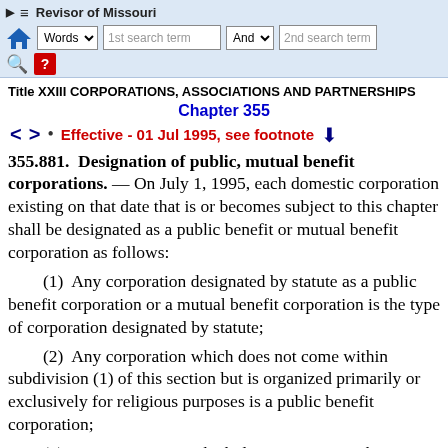Revisor of Missouri
Title XXIII CORPORATIONS, ASSOCIATIONS AND PARTNERSHIPS Chapter 355
Effective - 01 Jul 1995, see footnote
355.881. Designation of public, mutual benefit corporations.
— On July 1, 1995, each domestic corporation existing on that date that is or becomes subject to this chapter shall be designated as a public benefit or mutual benefit corporation as follows:
(1)  Any corporation designated by statute as a public benefit corporation or a mutual benefit corporation is the type of corporation designated by statute;
(2)  Any corporation which does not come within subdivision (1) of this section but is organized primarily or exclusively for religious purposes is a public benefit corporation;
(3)  Any corporation which does not come within